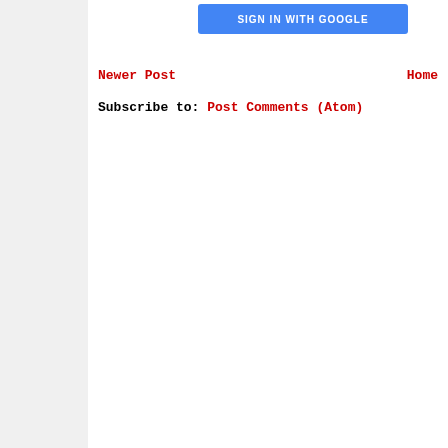[Figure (screenshot): Blue 'SIGN IN WITH GOOGLE' button]
Newer Post    Home
Subscribe to: Post Comments (Atom)